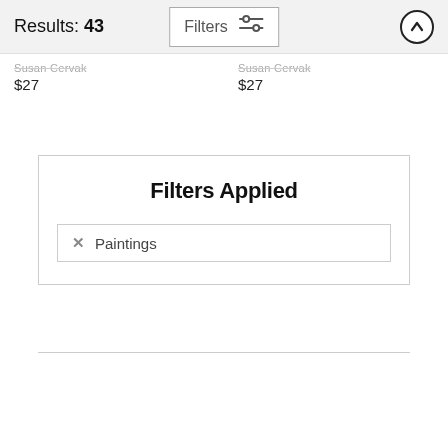Results: 43
$27
$27
Filters Applied
✕  Paintings